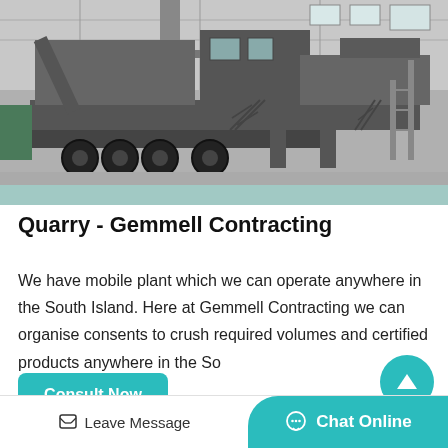[Figure (photo): Black and white photograph of a large mobile quarry crushing plant on a heavy truck/trailer in an industrial facility. The machine has multiple decks, stairs, and a conveyor system.]
Quarry - Gemmell Contracting
We have mobile plant which we can operate anywhere in the South Island. Here at Gemmell Contracting we can organise consents to crush required volumes and certified products anywhere in the So…
Consult Now
Leave Message
Chat Online